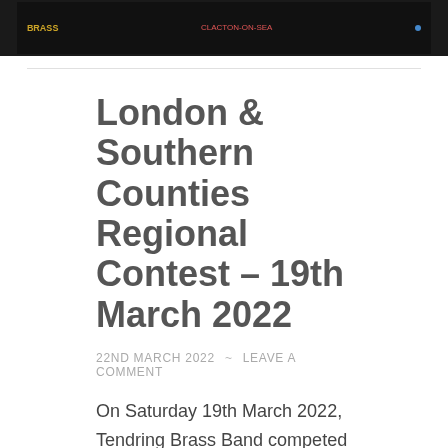[Figure (photo): Dark banner/header image showing logos and text for a brass band from Clacton-on-Sea]
London & Southern Counties Regional Contest – 19th March 2022
22ND MARCH 2022  ~  LEAVE A COMMENT
On Saturday 19th March 2022, Tendring Brass Band competed at the London & Southern Counties Regional Contest, held at The Gordon Craig Theatre, Stevenage. Competing in the 2nd